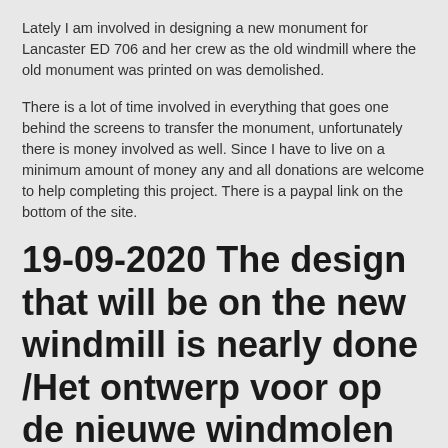Lately I am involved in designing a new monument for Lancaster ED 706 and her crew as the old windmill where the old monument was printed on was demolished.
There is a lot of time involved in everything that goes one behind the screens to transfer the monument, unfortunately there is money involved as well. Since I have to live on a minimum amount of money any and all donations are welcome to help completing this project. There is a paypal link on the bottom of the site.
19-09-2020 The design that will be on the new windmill is nearly done /Het ontwerp voor op de nieuwe windmolen is bijna klaar
Since a few weeks I have been talking to Vattenfall and